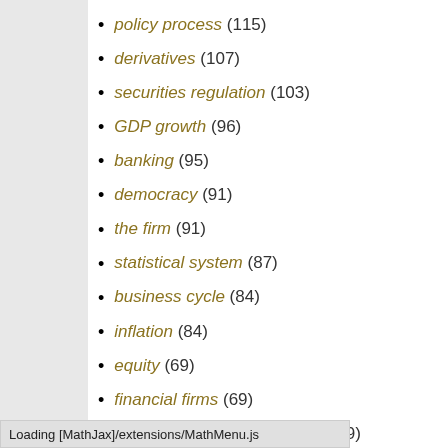policy process (115)
derivatives (107)
securities regulation (103)
GDP growth (96)
banking (95)
democracy (91)
the firm (91)
statistical system (87)
business cycle (84)
inflation (84)
equity (69)
financial firms (69)
international financial centre (69)
bond market (66)
China (64)
socialism (64)
Loading [MathJax]/extensions/MathMenu.js